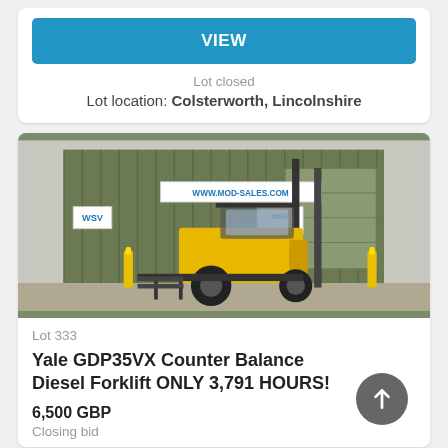VIEW
Lot closed
Lot location: Colsterworth, Lincolnshire
[Figure (photo): Yellow and black Yale GDP35VX Counter Balance Diesel Forklift parked outside a green warehouse building with WSV and www.mod-sales.com signage]
Lot 333
Yale GDP35VX Counter Balance Diesel Forklift ONLY 3,791 HOURS!
6,500 GBP
Closing bid